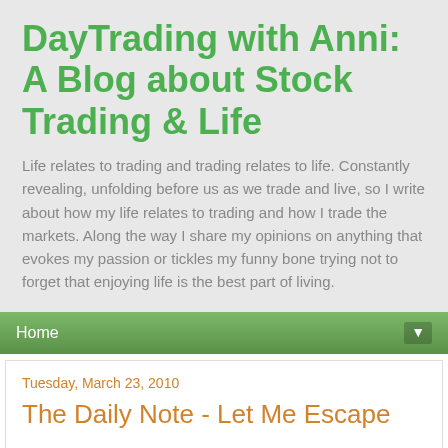DayTrading with Anni: A Blog about Stock Trading & Life
Life relates to trading and trading relates to life. Constantly revealing, unfolding before us as we trade and live, so I write about how my life relates to trading and how I trade the markets. Along the way I share my opinions on anything that evokes my passion or tickles my funny bone trying not to forget that enjoying life is the best part of living.
Home
Tuesday, March 23, 2010
The Daily Note - Let Me Escape
Just keep on trading I tell myself. You know that the change will take some time and you can trade because the market won't really reflect what is happening. It can't. It's impossible until the day when the shut down and shut out occurs.